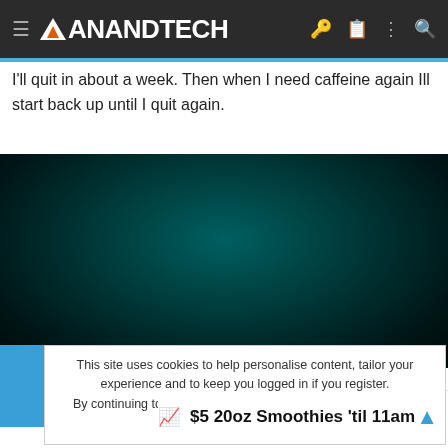AnandTech
I'll quit in about a week. Then when I need caffeine again Ill start back up until I quit again.
[Figure (photo): Dark teal/black gradient background area, likely a video or image placeholder]
This site uses cookies to help personalise content, tailor your experience and to keep you logged in if you register.
By continuing to use this site, you are consenting to our use of cookies.
$5 20oz Smoothies 'til 11am